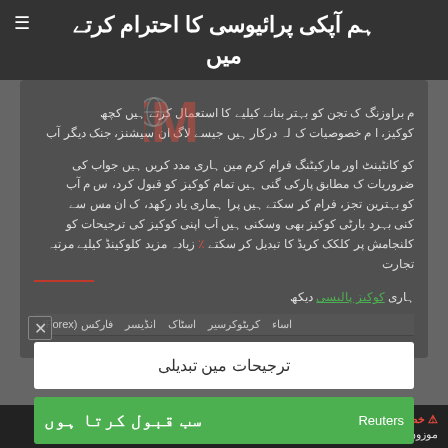ہم آپکی پرائیوسی کا احترام کرتے میں
[Figure (logo): XM broker logo in red and white, partially transparent]
م براوزنگ ک تجن کو بہتر بنانے کیلیے کا استعمال کرتے ہیں کچھ کوکیز، ا م خصوصیات ک لہ درکار ہیں جیسے لاگ ان سیشنز، جنک دیگر آب کو کانٹینٹ اور مارکیٹنگ فرام کرم مین ہاری مدد کریں ہیں جواب کی ضروریات ک مطابق پارکی گنی ہیں تمام کوکیز کو قبول کرد، س م آب کو بہترین تجز، فرام کر سکتے ہیں پرا ہماری یاد رکھد، ک ان مس سے کنی بہرد بارٹی کوکیز بھی وسکنی ہیں آب اپنی کوکیز کی ترجیحات کو کلنجامش پر کلکک کریڈ کا تبدیل کر سکتے زیادہ مزید کلوکینڈ کیلیے ٪ مرتبہ تجارت ہاری کوکیز پالیسی دیکھ
فارکس (Forex)   انڈیسر   اسٹاک   کریٹوکرسیر   اساء
ترجیحات مین تبدیلی
سب قبول کرتا ہوں  Reuters
⚠ خطر کی انتیا : آنکا سرماء خطر پر  وسکتا  2 لیون پروڈکٹ سب کلد موزوں ، وں برا کرم ہار مکمل رسک ڈسکلوژر کو بڑھد